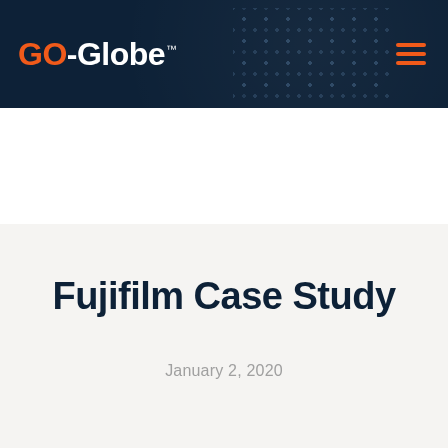GO-Globe
Fujifilm Case Study
Fujifilm Case Study
January 2, 2020